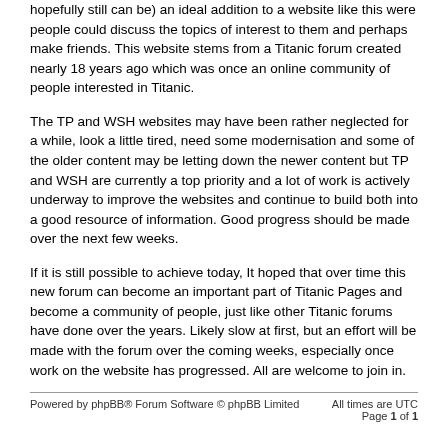hopefully still can be) an ideal addition to a website like this were people could discuss the topics of interest to them and perhaps make friends. This website stems from a Titanic forum created nearly 18 years ago which was once an online community of people interested in Titanic.
The TP and WSH websites may have been rather neglected for a while, look a little tired, need some modernisation and some of the older content may be letting down the newer content but TP and WSH are currently a top priority and a lot of work is actively underway to improve the websites and continue to build both into a good resource of information. Good progress should be made over the next few weeks.
If it is still possible to achieve today, It hoped that over time this new forum can become an important part of Titanic Pages and become a community of people, just like other Titanic forums have done over the years. Likely slow at first, but an effort will be made with the forum over the coming weeks, especially once work on the website has progressed. All are welcome to join in.
Powered by phpBB® Forum Software © phpBB Limited | All times are UTC Page 1 of 1